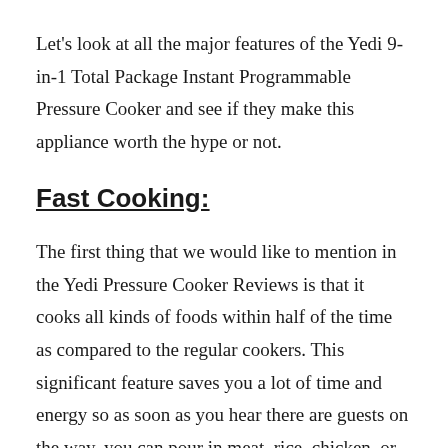Let's look at all the major features of the Yedi 9-in-1 Total Package Instant Programmable Pressure Cooker and see if they make this appliance worth the hype or not.
Fast Cooking:
The first thing that we would like to mention in the Yedi Pressure Cooker Reviews is that it cooks all kinds of foods within half of the time as compared to the regular cookers. This significant feature saves you a lot of time and energy so as soon as you hear there are guests on the way, you can pour in meat, rice, chicken, or whatever you like and prepare it within